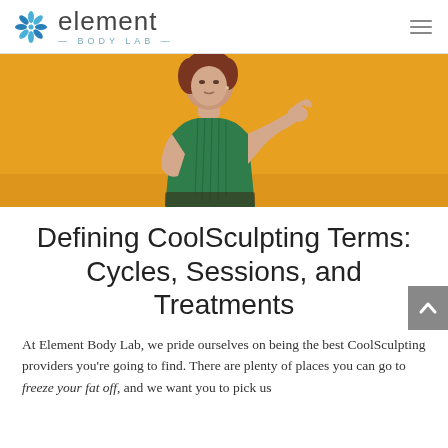element BODY LAB
[Figure (photo): Woman with auburn hair wearing a green sleeveless top against a bright yellow/orange background, with one hand raised in a questioning gesture]
Defining CoolSculpting Terms: Cycles, Sessions, and Treatments
At Element Body Lab, we pride ourselves on being the best CoolSculpting providers you're going to find. There are plenty of places you can go to freeze your fat off, and we want you to pick us